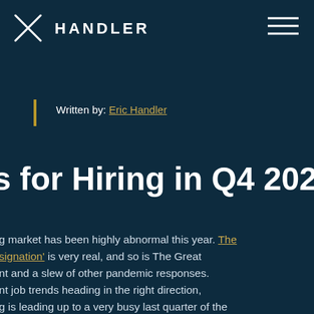[Figure (logo): Handler company logo with X mark and HANDLER text]
Written by: Eric Handler
s for Hiring in Q4 2021
g market has been highly abnormal this year. The Resignation' is very real, and so is The Great ent and a slew of other pandemic responses. ent job trends heading in the right direction, ng is leading up to a very busy last quarter of the d hiring in Q4 is always challenging.